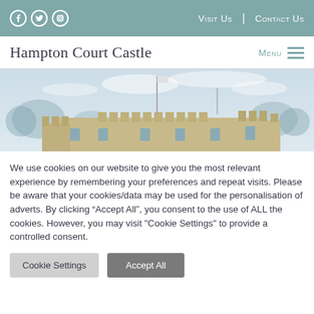Social icons | Visit Us | Contact Us
Hampton Court Castle   Menu
[Figure (photo): Exterior photo of Hampton Court Castle against a pale blue winter sky, showing battlements and a flagpole, with bare trees visible in the background.]
We use cookies on our website to give you the most relevant experience by remembering your preferences and repeat visits. Please be aware that your cookies/data may be used for the personalisation of adverts. By clicking “Accept All”, you consent to the use of ALL the cookies. However, you may visit “Cookie Settings” to provide a controlled consent.
Cookie Settings
Accept All